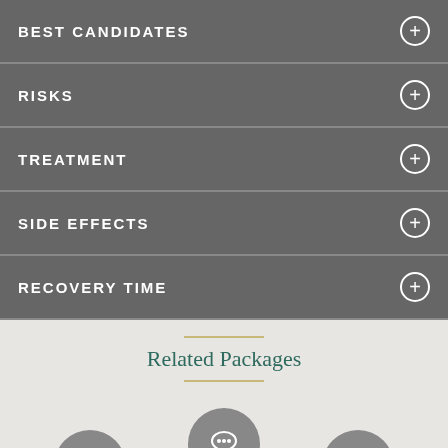BEST CANDIDATES
RISKS
TREATMENT
SIDE EFFECTS
RECOVERY TIME
Related Packages
CALL FOR
SEND AN INQUIRY
BOOK